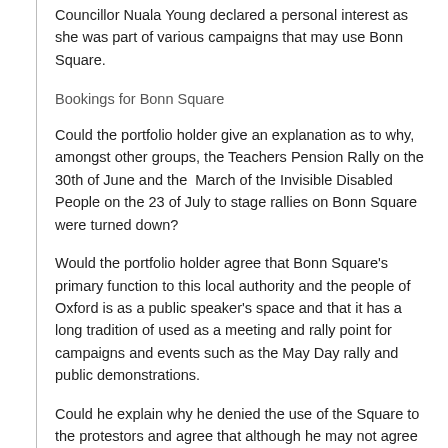Councillor Nuala Young declared a personal interest as she was part of various campaigns that may use Bonn Square.
Bookings for Bonn Square
Could the portfolio holder give an explanation as to why, amongst other groups, the Teachers Pension Rally on the 30th of June and the March of the Invisible Disabled People on the 23 of July to stage rallies on Bonn Square were turned down?
Would the portfolio holder agree that Bonn Square's primary function to this local authority and the people of Oxford is as a public speaker's space and that it has a long tradition of used as a meeting and rally point for campaigns and events such as the May Day rally and public demonstrations.
Could he explain why he denied the use of the Square to the protestors and agree that although he may not agree with the protestors, their peaceful methods and